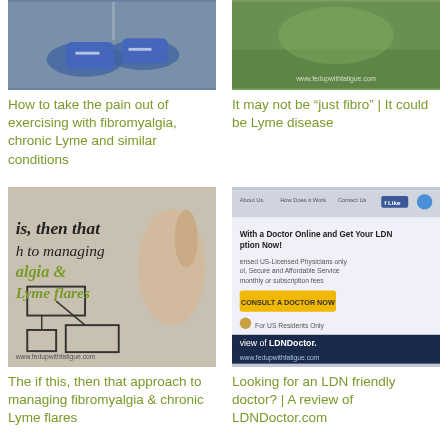[Figure (photo): Photo showing exercise-related image, person with blue sneakers]
How to take the pain out of exercising with fibromyalgia, chronic Lyme and similar conditions
[Figure (photo): Photo showing green outdoor scene with feduupwithfatigue.com watermark]
It may not be “just fibro” | It could be Lyme disease
[Figure (photo): Image showing handwritten text: is, then that, h to managing, algia &, Lyme flares with flowchart boxes]
The if this, then that approach to managing fibromyalgia & chronic Lyme flares
[Figure (screenshot): Screenshot of LDNDoctor.com website with yellow Consult a Doctor Now button and review of LDNDoctor banner]
Looking for an LDN friendly doctor? | A review of LDNDoctor.com